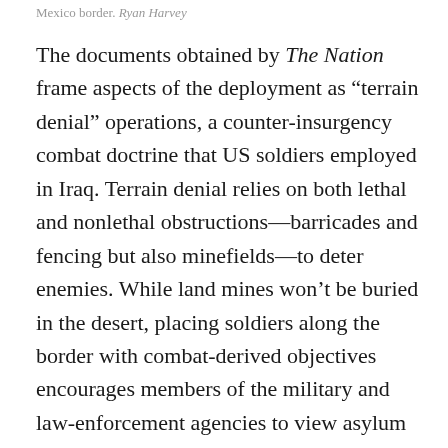Mexico border. Ryan Harvey
The documents obtained by The Nation frame aspects of the deployment as “terrain denial” operations, a counter-insurgency combat doctrine that US soldiers employed in Iraq. Terrain denial relies on both lethal and nonlethal obstructions—barricades and fencing but also minefields—to deter enemies. While land mines won’t be buried in the desert, placing soldiers along the border with combat-derived objectives encourages members of the military and law-enforcement agencies to view asylum seekers as an enemy threat.